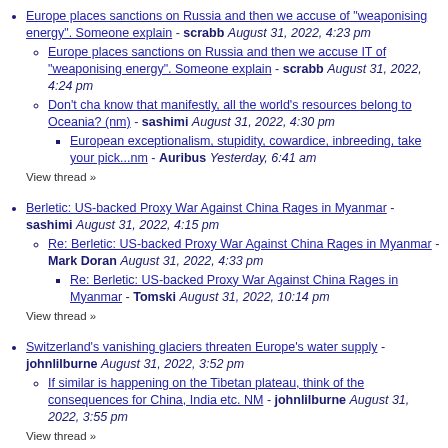Europe places sanctions on Russia and then we accuse of "weaponising energy". Someone explain - scrabb August 31, 2022, 4:23 pm
Europe places sanctions on Russia and then we accuse IT of "weaponising energy". Someone explain - scrabb August 31, 2022, 4:24 pm
Don't cha know that manifestly, all the world's resources belong to Oceania? (nm) - sashimi August 31, 2022, 4:30 pm
European exceptionalism, stupidity, cowardice, inbreeding, take your pick...nm - Auribus Yesterday, 6:41 am
View thread »
Berletic: US-backed Proxy War Against China Rages in Myanmar - sashimi August 31, 2022, 4:15 pm
Re: Berletic: US-backed Proxy War Against China Rages in Myanmar - Mark Doran August 31, 2022, 4:33 pm
Re: Berletic: US-backed Proxy War Against China Rages in Myanmar - Tomski August 31, 2022, 10:14 pm
View thread »
Switzerland's vanishing glaciers threaten Europe's water supply - johnlilburne August 31, 2022, 3:52 pm
If similar is happening on the Tibetan plateau, think of the consequences for China, India etc. NM - johnlilburne August 31, 2022, 3:55 pm
View thread »